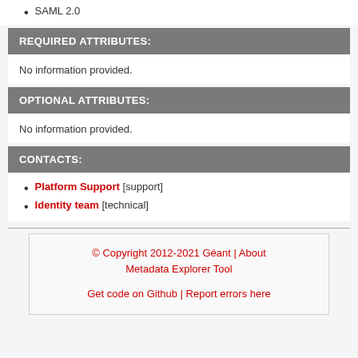SAML 2.0
REQUIRED ATTRIBUTES:
No information provided.
OPTIONAL ATTRIBUTES:
No information provided.
CONTACTS:
Platform Support [support]
Identity team [technical]
© Copyright 2012-2021 Géant | About Metadata Explorer Tool
Get code on Github | Report errors here